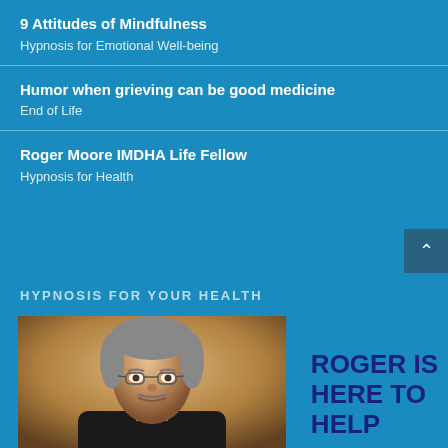9 Attitudes of Mindfulness
Hypnosis for Emotional Well-being
Humor when grieving can be good medicine
End of Life
Roger Moore IMDHA Life Fellow
Hypnosis for Health
HYPNOSIS FOR YOUR HEALTH
[Figure (photo): Portrait photo of a middle-aged man (Roger) with gray hair and glasses, photographed against a warm background]
ROGER IS HERE TO HELP